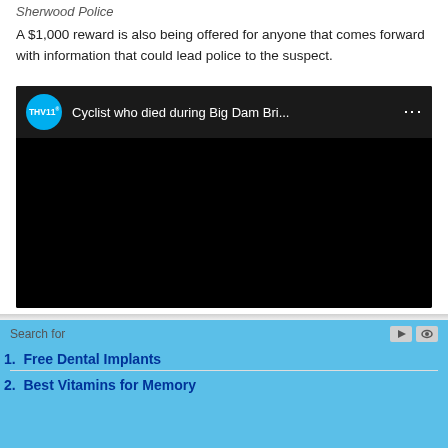Sherwood Police
A $1,000 reward is also being offered for anyone that comes forward with information that could lead police to the suspect.
[Figure (screenshot): Embedded video player with THV 11 logo showing title 'Cyclist who died during Big Dam Bri...' with black video area]
Search for
1. Free Dental Implants
2. Best Vitamins for Memory